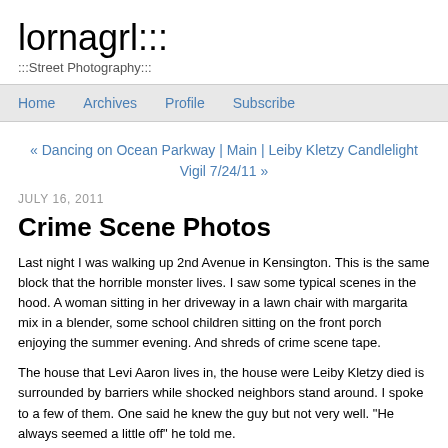lornagrl:::
:::Street Photography:::
Home | Archives | Profile | Subscribe
« Dancing on Ocean Parkway | Main | Leiby Kletzy Candlelight Vigil 7/24/11 »
JULY 16, 2011
Crime Scene Photos
Last night I was walking up 2nd Avenue in Kensington.  This is the same block that the horrible monster lives.  I saw some typical scenes in the hood.  A woman sitting in her driveway in a lawn chair with margarita mix in a blender, some school children sitting on the front porch enjoying the summer evening.  And shreds of crime scene tape.
The house that Levi Aaron lives in, the house were Leiby Kletzy died is surrounded by barriers while shocked neighbors stand around.  I spoke to a few of them.  One said he knew the guy but not very well.  "He always seemed a little off" he told me.
This morning I walked over again because I wanted to take some